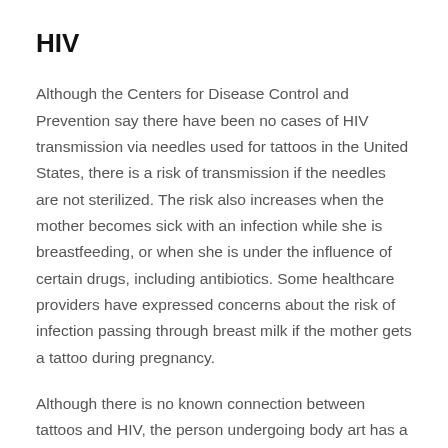HIV
Although the Centers for Disease Control and Prevention say there have been no cases of HIV transmission via needles used for tattoos in the United States, there is a risk of transmission if the needles are not sterilized. The risk also increases when the mother becomes sick with an infection while she is breastfeeding, or when she is under the influence of certain drugs, including antibiotics. Some healthcare providers have expressed concerns about the risk of infection passing through breast milk if the mother gets a tattoo during pregnancy.
Although there is no known connection between tattoos and HIV, the person undergoing body art has a high viral load of the virus, the needles used in the procedure can be contaminated by the blood of the previous customer. The CDC also recommends